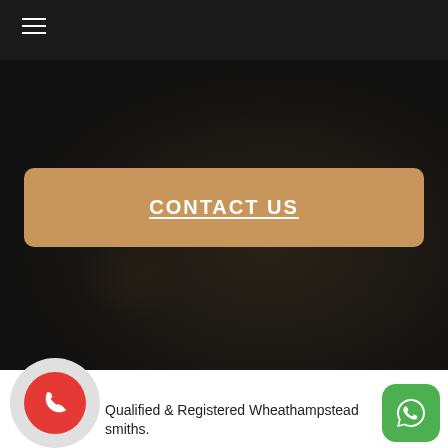≡ (hamburger menu icon)
[Figure (photo): Dark textured background (dark stone or leather surface) occupying the upper portion of the page below the header bar]
CONTACT US
Qualified & Registered Wheathampstead smiths.